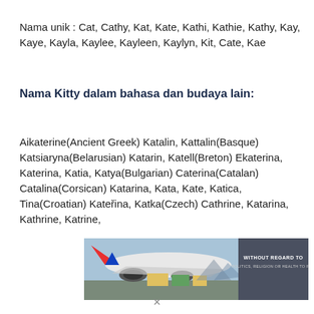Nama unik : Cat, Cathy, Kat, Kate, Kathi, Kathie, Kathy, Kay, Kaye, Kayla, Kaylee, Kayleen, Kaylyn, Kit, Cate, Kae
Nama Kitty dalam bahasa dan budaya lain:
Aikaterine(Ancient Greek) Katalin, Kattalin(Basque) Katsiaryna(Belarusian) Katarin, Katell(Breton) Ekaterina, Katerina, Katia, Katya(Bulgarian) Caterina(Catalan) Catalina(Corsican) Katarina, Kata, Kate, Katica, Tina(Croatian) Kateřina, Katka(Czech) Cathrine, Katarina, Kathrine, Katrine,
[Figure (photo): Advertisement banner showing a cargo airplane being loaded with freight on a tarmac, alongside a dark panel with text 'WITHOUT REGARD TO POLITICS, RELIGION OR HEALTH TO FAIL']
×